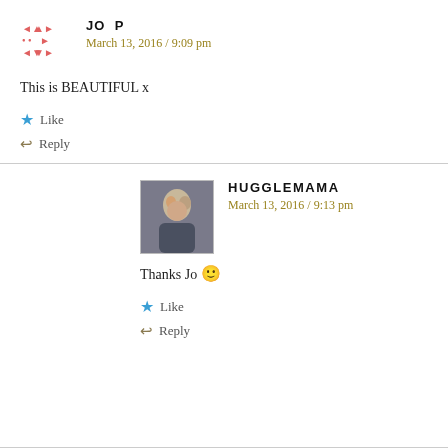JO P
March 13, 2016 / 9:09 pm
This is BEAUTIFUL x
Like
Reply
HUGGLEMAMA
March 13, 2016 / 9:13 pm
Thanks Jo 🙂
Like
Reply